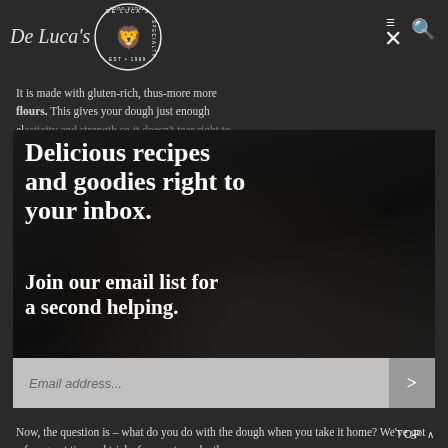[Figure (logo): De Luca's Specialty Food Store logo with lion emblem in circular badge, EST 1969]
It is made with gluten-rich, thus-more flours. This gives your dough just enough elasticity to
[Figure (screenshot): Email newsletter signup modal overlay with dark background food imagery. Headline: 'Delicious recipes and goodies right to your inbox. Join our email list for a second helping.' with email address input field.]
Now, the question is – what do you do with the dough when you take it home? We've got a few great tips and tricks for you to make the